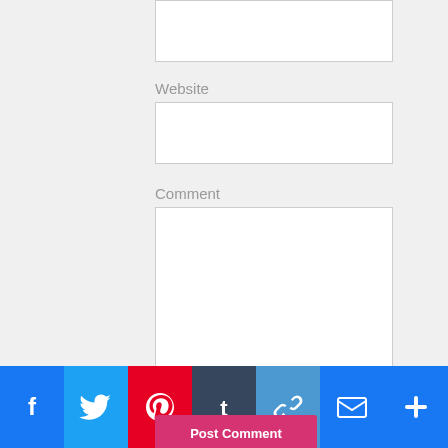[Figure (screenshot): Top portion of a web comment form showing a partially visible input field at the top, a Website label with input box, a Comment label with large textarea, a note about HTML tags, a Post Comment button, and a row of social share icons (Facebook, Twitter, Pinterest, Tumblr, Link, Email, Plus) at the bottom.]
Website
Comment
You may use some HTML tags and attributes.
Post Comment